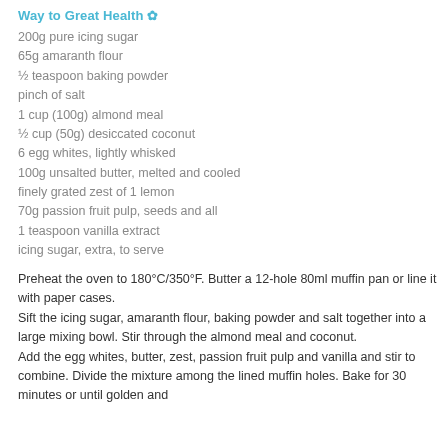Way to Great Health
200g pure icing sugar
65g amaranth flour
½ teaspoon baking powder
pinch of salt
1 cup (100g) almond meal
½ cup (50g) desiccated coconut
6 egg whites, lightly whisked
100g unsalted butter, melted and cooled
finely grated zest of 1 lemon
70g passion fruit pulp, seeds and all
1 teaspoon vanilla extract
icing sugar, extra, to serve
Preheat the oven to 180°C/350°F. Butter a 12-hole 80ml muffin pan or line it with paper cases. Sift the icing sugar, amaranth flour, baking powder and salt together into a large mixing bowl. Stir through the almond meal and coconut. Add the egg whites, butter, zest, passion fruit pulp and vanilla and stir to combine. Divide the mixture among the lined muffin holes. Bake for 30 minutes or until golden and...